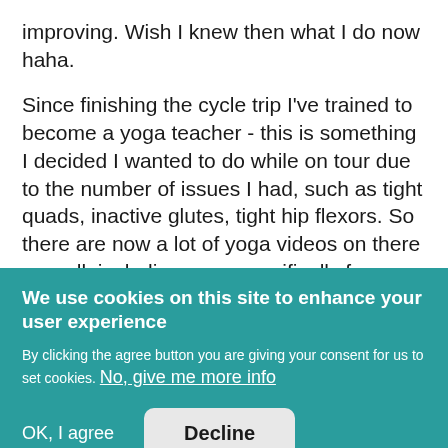improving. Wish I knew then what I do now haha.

Since finishing the cycle trip I've trained to become a yoga teacher - this is something I decided I wanted to do while on tour due to the number of issues I had, such as tight quads, inactive glutes, tight hip flexors. So there are now a lot of yoga videos on there as well, including ones specifically for
We use cookies on this site to enhance your user experience
By clicking the agree button you are giving your consent for us to set cookies. No, give me more info
OK, I agree
Decline